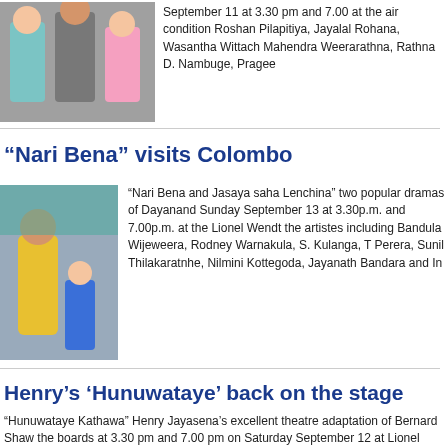[Figure (photo): Group of theatre performers in colourful costumes]
September 11 at 3.30 pm and 7.00 at the air condition Roshan Pilapitiya, Jayalal Rohana, Wasantha Wittach Mahendra Weerarathna, Rathna D. Nambuge, Pragee
“Nari Bena” visits Colombo
[Figure (photo): Performer in yellow costume with child in traditional dress]
“Nari Bena and Jasaya saha Lenchina” two popular dramas of Dayanand Sunday September 13 at 3.30p.m. and 7.00p.m. at the Lionel Wendt the artistes including Bandula Wijeweera, Rodney Warnakula, S. Kulanga, T Perera, Sunil Thilakaratnhe, Nilmini Kottegoda, Jayanath Bandara and In
Henry’s ‘Hunuwataye’ back on the stage
“Hunuwataye Kathawa” Henry Jayasena’s excellent theatre adaptation of Bernard Shaw the boards at 3.30 pm and 7.00 pm on Saturday September 12 at Lionel Wendt theatre C Pradeep Uduwela, Ruvini Manamperi, Prasannajith Abeysooriya, Nimal Jayasignhe, Indi Lalith, Janakantha, Chamika Hathlahawatte along [...]